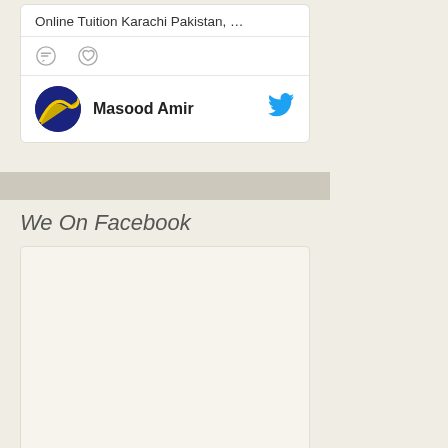Online Tuition Karachi Pakistan, …
[Figure (illustration): Comment and heart/like icons for tweet interactions]
Masood Amir
Crayfish Studios
We On Facebook
[Figure (screenshot): Facebook widget embed area (blank/loading)]